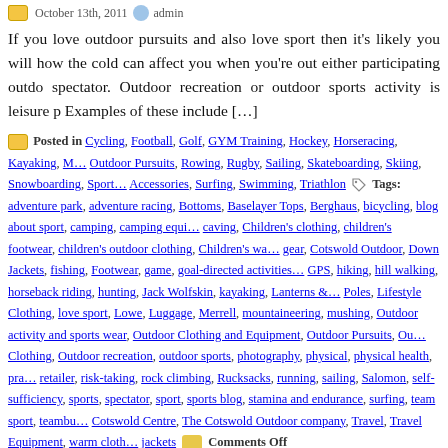October 13th, 2011  admin
If you love outdoor pursuits and also love sport then it's likely you will how the cold can affect you when you're out either participating outdo spectator. Outdoor recreation or outdoor sports activity is leisure p Examples of these include [...]
Posted in Cycling, Football, Golf, GYM Training, Hockey, Horseracing, Kayaking, M... Outdoor Pursuits, Rowing, Rugby, Sailing, Skateboarding, Skiing, Snowboarding, Sport... Accessories, Surfing, Swimming, Triathlon  Tags: adventure park, adventure racing, ... Bottoms, Baselayer Tops, Berghaus, bicycling, blog about sport, camping, camping equi... caving, Children's clothing, children's footwear, children's outdoor clothing, Children's wa... gear, Cotswold Outdoor, Down Jackets, fishing, Footwear, game, goal-directed activities,... GPS, hiking, hill walking, horseback riding, hunting, Jack Wolfskin, kayaking, Lanterns &... Poles, Lifestyle Clothing, love sport, Lowe, Luggage, Merrell, mountaineering, mushing,... Outdoor activity and sports wear, Outdoor Clothing and Equipment, Outdoor Pursuits, Ou... Clothing, Outdoor recreation, outdoor sports, photography, physical, physical health, pra... retailer, risk-taking, rock climbing, Rucksacks, running, sailing, Salomon, self-sufficiency,... sports, spectator, sport, sports blog, stamina and endurance, surfing, team sport, teambu... Cotswold Centre, The Cotswold Outdoor company, Travel, Travel Equipment, warm cloth... jackets   Comments Off